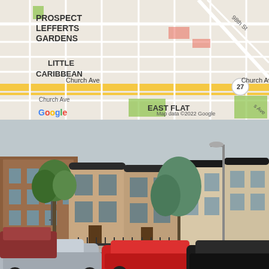[Figure (map): Google Maps screenshot showing Prospect Lefferts Gardens and Little Caribbean neighborhood in Brooklyn, NY. Church Ave visible with route 27. Shows East Flatbush area. Map data ©2022 Google.]
[Figure (photo): Street-level photograph of Brooklyn rowhouses/brownstones on a residential block. Three cars parked in foreground: silver sedan on left, red coupe in center, black sedan on right. Brick apartment building on far left with fire escape. Stone-facade townhouses in center. Trees and cloudy sky visible.]